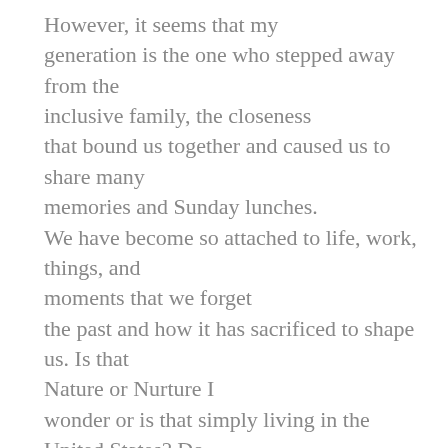However, it seems that my generation is the one who stepped away from the inclusive family, the closeness that bound us together and caused us to share many memories and Sunday lunches. We have become so attached to life, work, things, and moments that we forget the past and how it has sacrificed to shape us. Is that Nature or Nurture I wonder or is that simply living in the United States? Do we lose our affection and respect of elders by leaving “HOME” or are we as a generation just so very selfish that we only have time for ourselves? I can only speak for myself when I say that I am currently in the same type of situation. We tend to